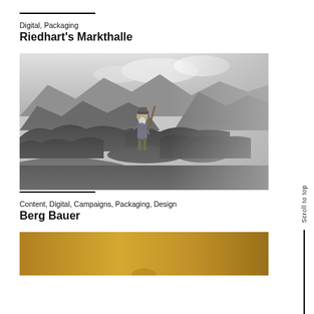Digital, Packaging
Riedhart's Markthalle
[Figure (photo): Black and white photograph of an elderly bearded man with a walking stick standing on a mountain trail, with rocky mountain landscape in background]
Content, Digital, Campaigns, Packaging, Design
Berg Bauer
[Figure (photo): Partial photo with golden/yellow background, cropped at bottom of page]